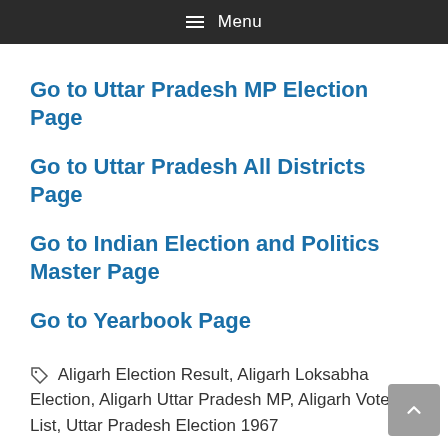≡ Menu
Go to Uttar Pradesh MP Election Page
Go to Uttar Pradesh All Districts Page
Go to Indian Election and Politics Master Page
Go to Yearbook Page
Aligarh Election Result, Aligarh Loksabha Election, Aligarh Uttar Pradesh MP, Aligarh Voter List, Uttar Pradesh Election 1967